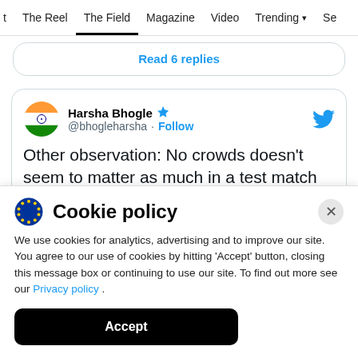t  The Reel  The Field  Magazine  Video  Trending  See
Read 6 replies
[Figure (screenshot): Tweet from Harsha Bhogle (@bhogleharsha) with verified badge and Follow link. Tweet text: Other observation: No crowds doesn't seem to matter as much in a test match]
Cookie policy
We use cookies for analytics, advertising and to improve our site. You agree to our use of cookies by hitting 'Accept' button, closing this message box or continuing to use our site. To find out more see our Privacy policy .
Accept